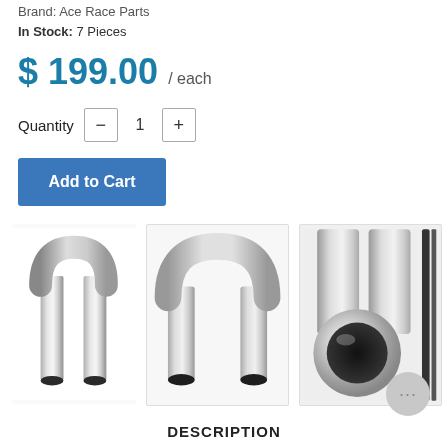Brand: Ace Race Parts
In Stock: 7 Pieces
$ 199.00 / each
Quantity  −  1  +
Add to Cart
[Figure (photo): Stainless steel U-bend pipe fitting, side view on white background]
[Figure (photo): Stainless steel U-bend pipe fitting, front view showing both open ends on white background]
[Figure (photo): Close-up end view of stainless steel U-bend pipe fitting showing circular cross-section]
DESCRIPTION